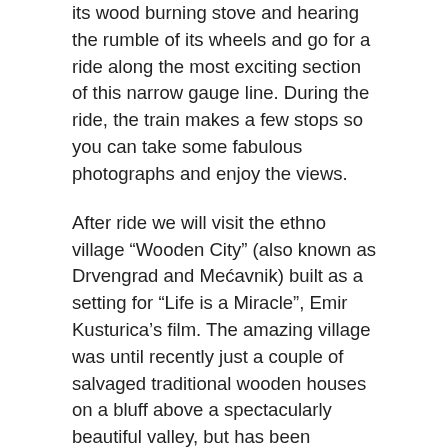its wood burning stove and hearing the rumble of its wheels and go for a ride along the most exciting section of this narrow gauge line. During the ride, the train makes a few stops so you can take some fabulous photographs and enjoy the views.
After ride we will visit the ethno village “Wooden City” (also known as Drvengrad and Mećavnik) built as a setting for “Life is a Miracle”, Emir Kusturica’s film. The amazing village was until recently just a couple of salvaged traditional wooden houses on a bluff above a spectacularly beautiful valley, but has been transformed into a modern equivalent of the medieval great monastery or university made of natural materials, mostly from wood. In the newly built town you can find streets and squares, hotel, few restaurants and bars, congress center, library, Serbia’s most advanced cinema, church, large indoor swimming pool, saunas, gym, tennis court and an